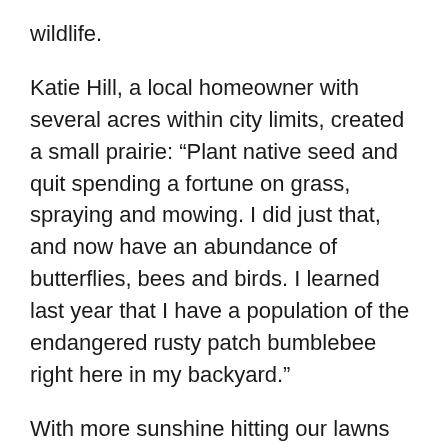wildlife.
Katie Hill, a local homeowner with several acres within city limits, created a small prairie: “Plant native seed and quit spending a fortune on grass, spraying and mowing. I did just that, and now have an abundance of butterflies, bees and birds. I learned last year that I have a population of the endangered rusty patch bumblebee right here in my backyard.”
With more sunshine hitting our lawns and forest floors, the storms’ aftermath brings an opportunity to create a little prairie in areas that are particularly sunny. Plant prairie seeds now because their seeds require a hard Midwest winter to germinate in the spring. Imagine that: some species actually love and